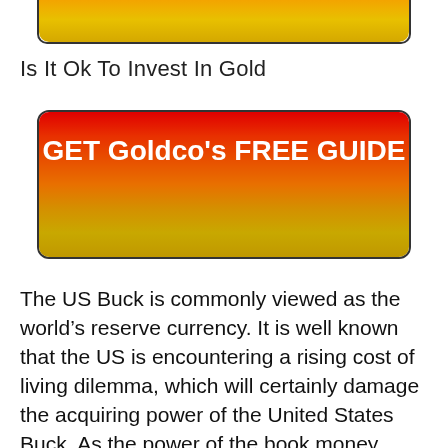[Figure (other): Partially cropped red-to-gold gradient button at top of page]
Is It Ok To Invest In Gold
[Figure (other): Red to gold gradient call-to-action button reading GET Goldco's FREE GUIDE]
The US Buck is commonly viewed as the world’s reserve currency. It is well known that the US is encountering a rising cost of living dilemma, which will certainly damage the acquiring power of the United States Buck. As the power of the book money reduces, individuals not just in the United States, yet all over the world, are most likely to flock to the protection of gold and also